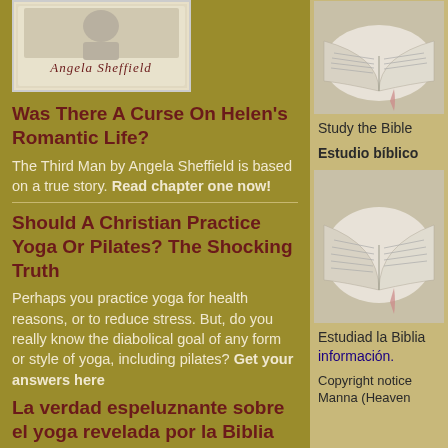[Figure (illustration): Book cover image with 'Angela Sheffield' in italic script on a light beige background]
Was There A Curse On Helen's Romantic Life?
The Third Man by Angela Sheffield is based on a true story. Read chapter one now!
Should A Christian Practice Yoga Or Pilates? The Shocking Truth
Perhaps you practice yoga for health reasons, or to reduce stress. But, do you really know the diabolical goal of any form or style of yoga, including pilates? Get your answers here
La verdad espeluznante sobre el yoga revelada por la Biblia cristiana
Quizás practiques yoga por motivos de salud o para reducir el estrés. Pero, ¿realmente conoces
[Figure (photo): Open Bible book photo on beige background]
Study the Bible
Estudio bíblico
[Figure (photo): Open Bible book photo on beige background, second instance]
Estudiad la Biblia información.
Copyright notice Manna (Heaven